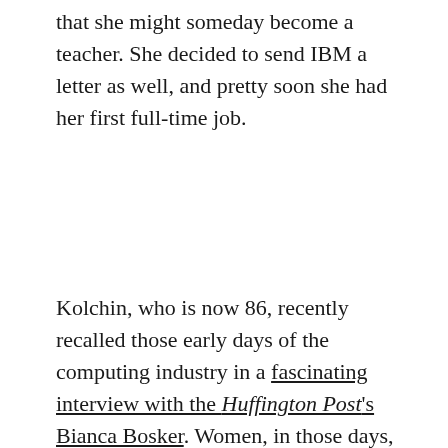that she might someday become a teacher. She decided to send IBM a letter as well, and pretty soon she had her first full-time job.
Kolchin, who is now 86, recently recalled those early days of the computing industry in a fascinating interview with the Huffington Post's Bianca Bosker. Women, in those days, were seen as temporary hires, holding a spot for a man, which